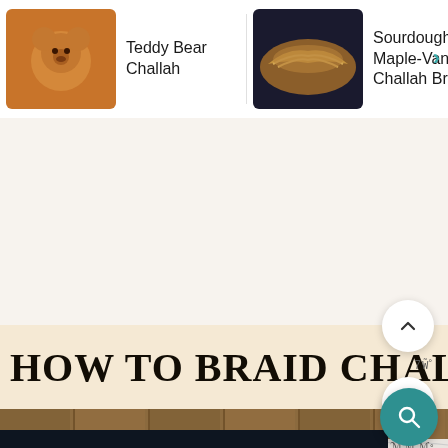[Figure (screenshot): Website header navigation strip showing three recipe cards: 'Teddy Bear Challah', 'Sourdough Maple-Vanilla Challah Bread', and 'Apple Ham Bread' with a right arrow, each with a thumbnail image]
[Figure (screenshot): Cream/beige background area with scroll-up button, weather indicator '75°', heart/favorite button, and search button]
HOW TO BRAID CHALLAH
[Figure (photo): Braided challah bread on wood/marble surface]
SHE CAN STEM
75°